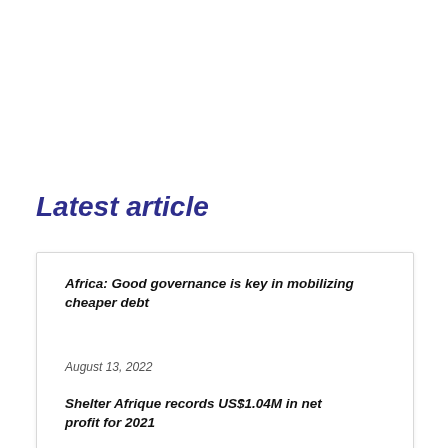Latest article
Africa: Good governance is key in mobilizing cheaper debt
August 13, 2022
Shelter Afrique records US$1.04M in net profit for 2021
August 13, 2022